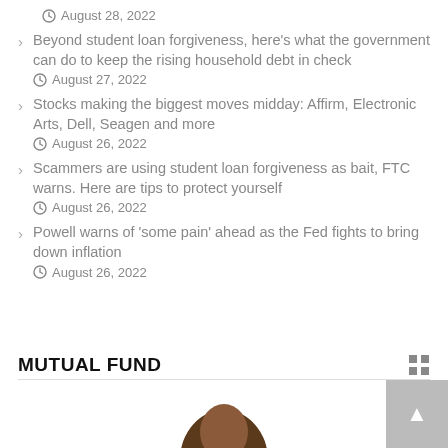August 28, 2022
Beyond student loan forgiveness, here's what the government can do to keep the rising household debt in check
August 27, 2022
Stocks making the biggest moves midday: Affirm, Electronic Arts, Dell, Seagen and more
August 26, 2022
Scammers are using student loan forgiveness as bait, FTC warns. Here are tips to protect yourself
August 26, 2022
Powell warns of 'some pain' ahead as the Fed fights to bring down inflation
August 26, 2022
MUTUAL FUND
[Figure (photo): Partial view of a person's head at the bottom of the page, with a scroll-to-top button in the bottom right corner]